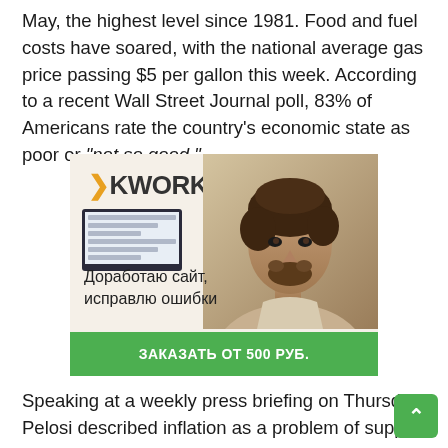May, the highest level since 1981. Food and fuel costs have soared, with the national average gas price passing $5 per gallon this week. According to a recent Wall Street Journal poll, 83% of Americans rate the country's economic state as poor or "not so good."
[Figure (illustration): Kwork advertisement banner with a man looking at a laptop. Text in Russian: 'Доработаю сайт, исправлю ошибки' and a green button reading 'ЗАКАЗАТЬ ОТ 500 РУБ.']
Speaking at a weekly press briefing on Thursday, Pelosi described inflation as a problem of supply